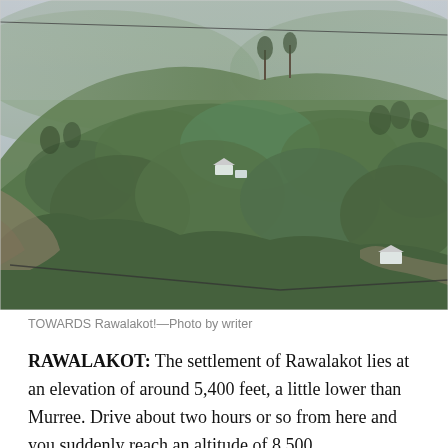[Figure (photo): Aerial or elevated view of a lush green hillside covered in dense trees and vegetation, with a few small white buildings visible among the greenery. The sky is hazy and overcast. Power lines cross the foreground. Caption indicates this is towards Rawalakot.]
TOWARDS Rawalakot!—Photo by writer
RAWALAKOT: The settlement of Rawalakot lies at an elevation of around 5,400 feet, a little lower than Murree. Drive about two hours or so from here and you suddenly reach an altitude of 8,500